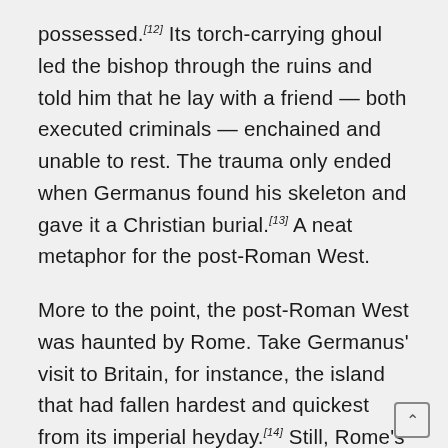possessed.[12] Its torch-carrying ghoul led the bishop through the ruins and told him that he lay with a friend — both executed criminals — enchained and unable to rest. The trauma only ended when Germanus found his skeleton and gave it a Christian burial.[13] A neat metaphor for the post-Roman West.
More to the point, the post-Roman West was haunted by Rome. Take Germanus' visit to Britain, for instance, the island that had fallen hardest and quickest from its imperial heyday.[14] Still, Rome's shadow fell on everything. Germanus was met on arrival by ecclesiastics (admittedly Pelagian but that was the reason for the cleric's visit) from